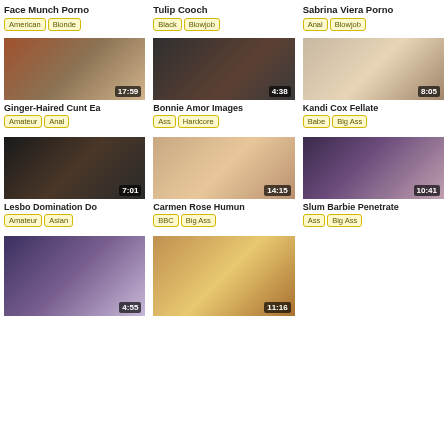Face Munch Porno
American, Blonde
Tulip Cooch
Black, Blowjob
Sabrina Viera Porno
Anal, Blowjob
[Figure (photo): Video thumbnail 17:59]
Ginger-Haired Cunt Ea...
Amateur, Anal
[Figure (photo): Video thumbnail 4:38]
Bonnie Amor Images
Ass, Hardcore
[Figure (photo): Video thumbnail 8:05]
Kandi Cox Fellate
Babe, Big Ass
[Figure (photo): Video thumbnail 7:01]
Lesbo Domination Do...
Amateur, Asian
[Figure (photo): Video thumbnail 14:15]
Carmen Rose Humun...
BBC, Big Ass
[Figure (photo): Video thumbnail 10:41]
Slum Barbie Penetrate...
Ass, Big Ass
[Figure (photo): Video thumbnail 4:55]
[Figure (photo): Video thumbnail 11:16]